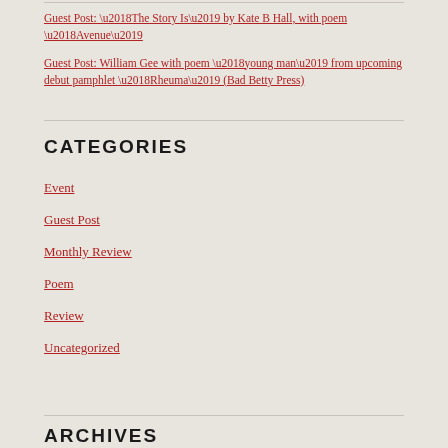Guest Post: ‘The Story Is’ by Kate B Hall, with poem ‘Avenue’
Guest Post: William Gee with poem ‘young man’ from upcoming debut pamphlet ‘Rheuma’ (Bad Betty Press)
CATEGORIES
Event
Guest Post
Monthly Review
Poem
Review
Uncategorized
ARCHIVES